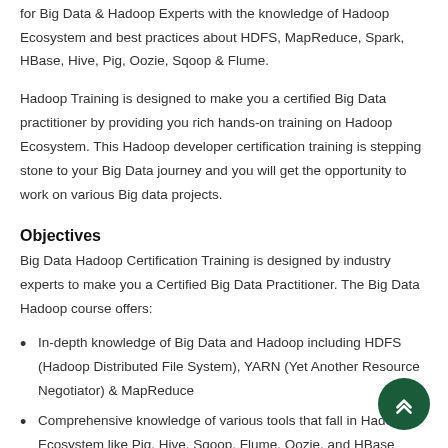for Big Data & Hadoop Experts with the knowledge of Hadoop Ecosystem and best practices about HDFS, MapReduce, Spark, HBase, Hive, Pig, Oozie, Sqoop & Flume.
Hadoop Training is designed to make you a certified Big Data practitioner by providing you rich hands-on training on Hadoop Ecosystem. This Hadoop developer certification training is stepping stone to your Big Data journey and you will get the opportunity to work on various Big data projects.
Objectives
Big Data Hadoop Certification Training is designed by industry experts to make you a Certified Big Data Practitioner. The Big Data Hadoop course offers:
In-depth knowledge of Big Data and Hadoop including HDFS (Hadoop Distributed File System), YARN (Yet Another Resource Negotiator) & MapReduce
Comprehensive knowledge of various tools that fall in Hadoop Ecosystem like Pig, Hive, Sqoop, Flume, Oozie, and HBase
The capability to ingest data in HDFS using Sqoop & Flume, and analyze